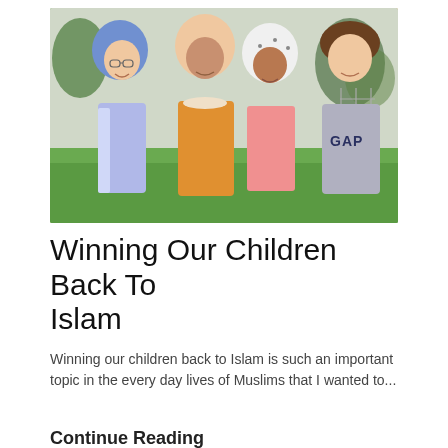[Figure (photo): Four children posing together outdoors on grass. Three girls are wearing hijabs (one blue, one peach/orange, one white with polka dots) and one boy wearing a grey GAP sweatshirt. Trees and a fence are visible in the background.]
Winning Our Children Back To Islam
Winning our children back to Islam is such an important topic in the every day lives of Muslims that I wanted to...
Continue Reading